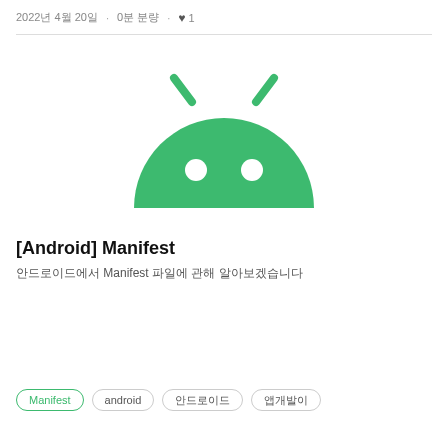2022년 4월 20일 · 0분 분량 · ♥ 1
[Figure (logo): Android robot logo — green semicircle body with two antenna antennae and two white circular eyes]
[Android] Manifest
안드로이드에서 Manifest 파일에 관해 알아보겠습니다
Manifest
android
안드로이드
앱개발이